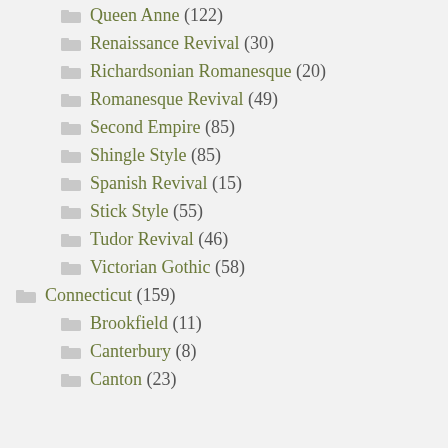Queen Anne (122)
Renaissance Revival (30)
Richardsonian Romanesque (20)
Romanesque Revival (49)
Second Empire (85)
Shingle Style (85)
Spanish Revival (15)
Stick Style (55)
Tudor Revival (46)
Victorian Gothic (58)
Connecticut (159)
Brookfield (11)
Canterbury (8)
Canton (23)